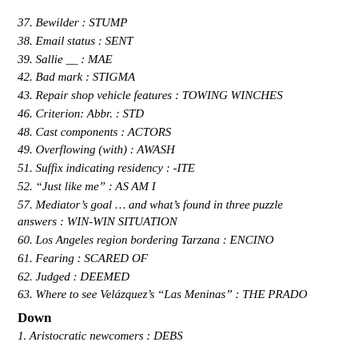37. Bewilder : STUMP
38. Email status : SENT
39. Sallie __ : MAE
42. Bad mark : STIGMA
43. Repair shop vehicle features : TOWING WINCHES
46. Criterion: Abbr. : STD
48. Cast components : ACTORS
49. Overflowing (with) : AWASH
51. Suffix indicating residency : -ITE
52. “Just like me” : AS AM I
57. Mediator’s goal … and what’s found in three puzzle answers : WIN-WIN SITUATION
60. Los Angeles region bordering Tarzana : ENCINO
61. Fearing : SCARED OF
62. Judged : DEEMED
63. Where to see Velázquez’s “Las Meninas” : THE PRADO
Down
1. Aristocratic newcomers : DEBS